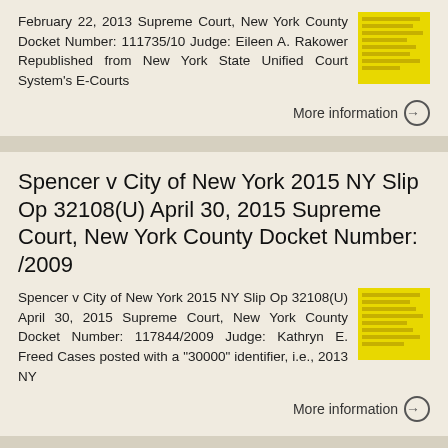February 22, 2013 Supreme Court, New York County Docket Number: 111735/10 Judge: Eileen A. Rakower Republished from New York State Unified Court System's E-Courts
More information →
Spencer v City of New York 2015 NY Slip Op 32108(U) April 30, 2015 Supreme Court, New York County Docket Number: /2009
Spencer v City of New York 2015 NY Slip Op 32108(U) April 30, 2015 Supreme Court, New York County Docket Number: 117844/2009 Judge: Kathryn E. Freed Cases posted with a "30000" identifier, i.e., 2013 NY
More information →
Smith v Columbus Manor, LLC 2011 NY Slip